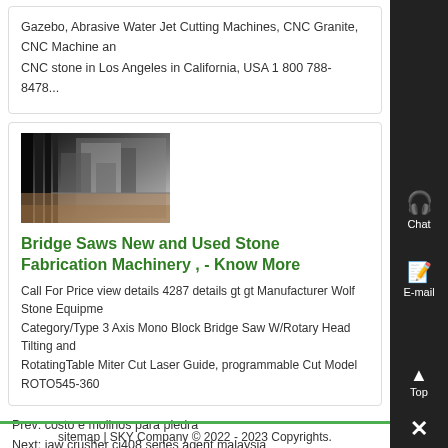Gazebo, Abrasive Water Jet Cutting Machines, CNC Granite, CNC Machine and CNC stone in Los Angeles in California, USA 1 800 788-8478...
[Figure (photo): Industrial machinery or stone cutting equipment viewed from elevated angle, showing factory floor with equipment]
Bridge Saws New and Used Stone Fabrication Machinery , - Know More
Call For Price view details 4287 details gt gt Manufacturer Wolf Stone Equipment Category/Type 3 Axis Mono Block Bridge Saw W/Rotary Head Tilting and RotatingTable Miter Cut Laser Guide, programmable Cut Model ROTO545-360
Prev: costo e molinos para piedra
Next: jaw crusher cj408 series agent malaysia
sitemap | SKY Company © 2022 - 2023 Copyrights.